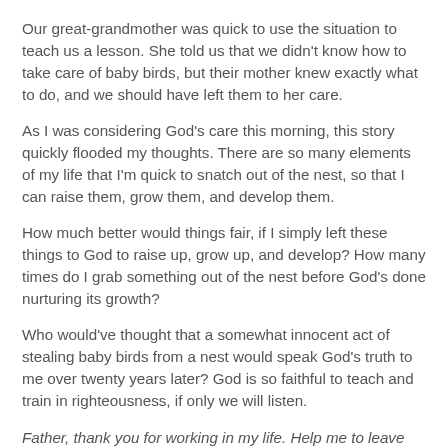Our great-grandmother was quick to use the situation to teach us a lesson. She told us that we didn't know how to take care of baby birds, but their mother knew exactly what to do, and we should have left them to her care.
As I was considering God's care this morning, this story quickly flooded my thoughts. There are so many elements of my life that I'm quick to snatch out of the nest, so that I can raise them, grow them, and develop them.
How much better would things fair, if I simply left these things to God to raise up, grow up, and develop? How many times do I grab something out of the nest before God's done nurturing its growth?
Who would've thought that a somewhat innocent act of stealing baby birds from a nest would speak God's truth to me over twenty years later? God is so faithful to teach and train in righteousness, if only we will listen.
Father, thank you for working in my life. Help me to leave things untouched, so that you might nurture me to spiritual